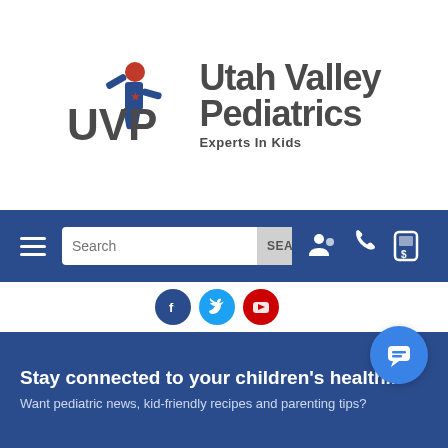[Figure (logo): Utah Valley Pediatrics logo with UVP text and child icon, tagline Experts In Kids]
[Figure (screenshot): Navigation bar with hamburger menu, search box with SEARCH button, and icons for patient portal, phone, and payment on dark blue background]
[Figure (screenshot): Social media icons row: Facebook, Twitter, YouTube]
Stay connected to your children's health...
Want pediatric news, kid-friendly recipes and parenting tips?